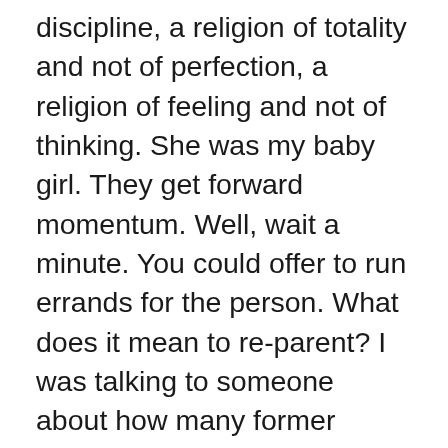discipline, a religion of totality and not of perfection, a religion of feeling and not of thinking. She was my baby girl. They get forward momentum. Well, wait a minute. You could offer to run errands for the person. What does it mean to re-parent? I was talking to someone about how many former foster kids we serve when we're on Skid Row, and my friend was listening. But they kept telling her she was crazy. Our cravings are primal, and yet they're manipulated in a myriad of